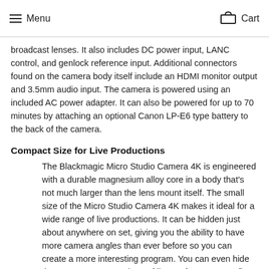Menu  Cart
broadcast lenses. It also includes DC power input, LANC control, and genlock reference input. Additional connectors found on the camera body itself include an HDMI monitor output and 3.5mm audio input. The camera is powered using an included AC power adapter. It can also be powered for up to 70 minutes by attaching an optional Canon LP-E6 type battery to the back of the camera.
Compact Size for Live Productions
The Blackmagic Micro Studio Camera 4K is engineered with a durable magnesium alloy core in a body that's not much larger than the lens mount itself. The small size of the Micro Studio Camera 4K makes it ideal for a wide range of live productions. It can be hidden just about anywhere on set, giving you the ability to have more camera angles than ever before so you can create a more interesting program. You can even hide them on stage to get shots of live performances or fly them overhead on rigs during sporting events. It can also be used in the studio by rigging it with a professional broadcast lens and